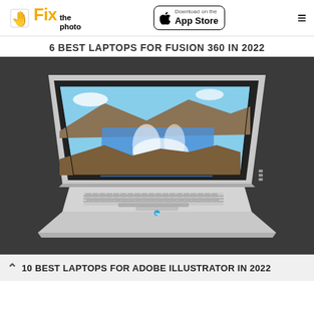Fix the photo | Download on the App Store
6 BEST LAPTOPS FOR FUSION 360 IN 2022
[Figure (photo): HP laptop with silver body, open lid displaying a waterfall/landscape photo on screen, photographed at an angle on a dark gray background]
10 BEST LAPTOPS FOR ADOBE ILLUSTRATOR IN 2022